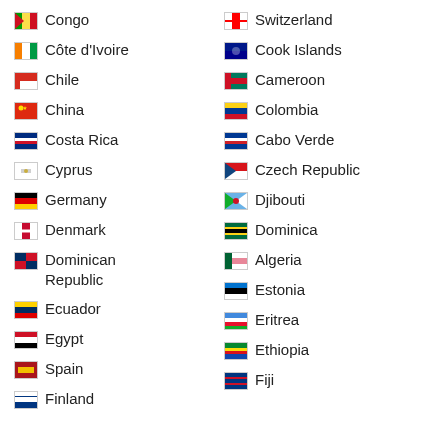Congo
Switzerland
Côte d'Ivoire
Cook Islands
Chile
Cameroon
China
Colombia
Costa Rica
Cabo Verde
Cyprus
Czech Republic
Germany
Djibouti
Denmark
Dominica
Dominican Republic
Algeria
Ecuador
Estonia
Egypt
Eritrea
Spain
Ethiopia
Finland
Fiji